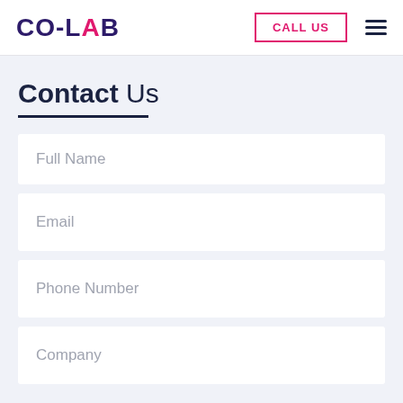CO-LAB | CALL US
Contact Us
Full Name
Email
Phone Number
Company